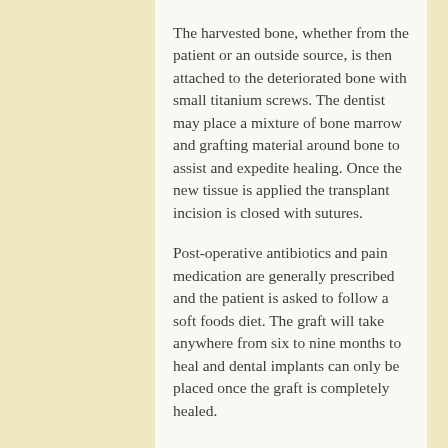The harvested bone, whether from the patient or an outside source, is then attached to the deteriorated bone with small titanium screws.  The dentist may place a mixture of bone marrow and grafting material around bone to assist and expedite healing.  Once the new tissue is applied the transplant incision is closed with sutures.
Post-operative antibiotics and pain medication are generally prescribed and the patient is asked to follow a soft foods diet.  The graft will take anywhere from six to nine months to heal and dental implants can only be placed once the graft is completely healed.
Contact Us